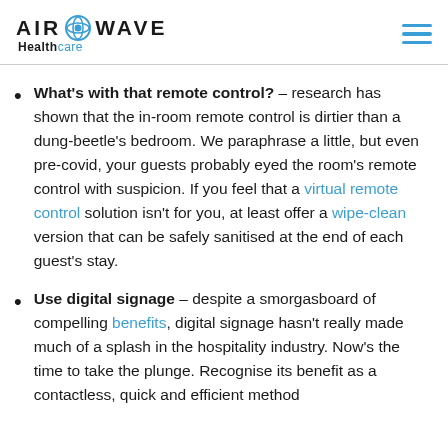AIRWAVE Healthcare
What's with that remote control? – research has shown that the in-room remote control is dirtier than a dung-beetle's bedroom. We paraphrase a little, but even pre-covid, your guests probably eyed the room's remote control with suspicion. If you feel that a virtual remote control solution isn't for you, at least offer a wipe-clean version that can be safely sanitised at the end of each guest's stay.
Use digital signage – despite a smorgasboard of compelling benefits, digital signage hasn't really made much of a splash in the hospitality industry. Now's the time to take the plunge. Recognise its benefit as a contactless, quick and efficient method